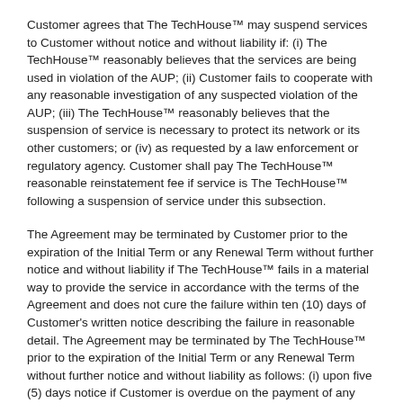Customer agrees that The TechHouse™ may suspend services to Customer without notice and without liability if: (i) The TechHouse™ reasonably believes that the services are being used in violation of the AUP; (ii) Customer fails to cooperate with any reasonable investigation of any suspected violation of the AUP; (iii) The TechHouse™ reasonably believes that the suspension of service is necessary to protect its network or its other customers; or (iv) as requested by a law enforcement or regulatory agency. Customer shall pay The TechHouse™ reasonable reinstatement fee if service is The TechHouse™ following a suspension of service under this subsection.
The Agreement may be terminated by Customer prior to the expiration of the Initial Term or any Renewal Term without further notice and without liability if The TechHouse™ fails in a material way to provide the service in accordance with the terms of the Agreement and does not cure the failure within ten (10) days of Customer's written notice describing the failure in reasonable detail. The Agreement may be terminated by The TechHouse™ prior to the expiration of the Initial Term or any Renewal Term without further notice and without liability as follows: (i) upon five (5) days notice if Customer is overdue on the payment of any amount due under the Agreement; (ii) Customer materially violates any other provision of the Agreement, including the AUP, and fails to cure the violation within thirty (30) days of a written notice from The